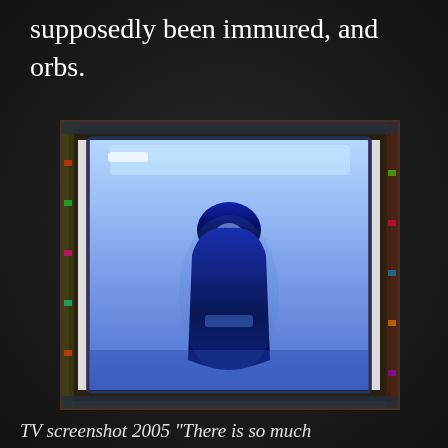supposedly been immured, and orbs.
[Figure (screenshot): A blurry TV screenshot showing a blue-tinted image on a screen. The screen displays a dark silhouette of a cloaked or robed figure against a bright blue background, with colorful interference patterns around the screen edges.]
TV screenshot 2005 “There is so much